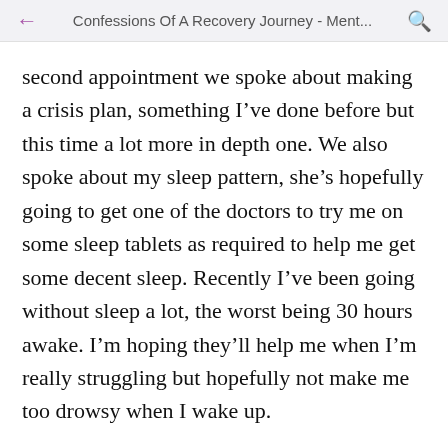Confessions Of A Recovery Journey - Ment...
second appointment we spoke about making a crisis plan, something I've done before but this time a lot more in depth one. We also spoke about my sleep pattern, she's hopefully going to get one of the doctors to try me on some sleep tablets as required to help me get some decent sleep. Recently I've been going without sleep a lot, the worst being 30 hours awake. I'm hoping they'll help me when I'm really struggling but hopefully not make me too drowsy when I wake up.
I'm stressed out quite a bit at the moment